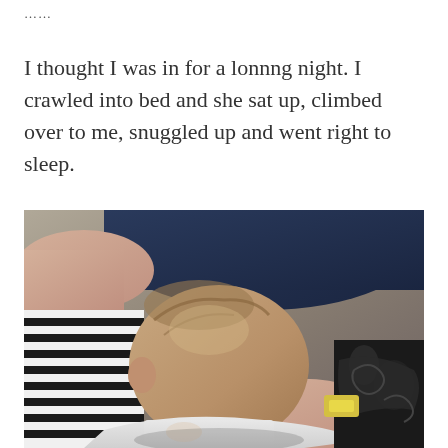……
I thought I was in for a lonnng night. I crawled into bed and she sat up, climbed over to me, snuggled up and went right to sleep.
[Figure (photo): A sleeping baby with light hair snuggled against an adult, lying on a striped black-and-white blanket. The baby is wearing a white onesie. A patterned fabric is visible in the background.]